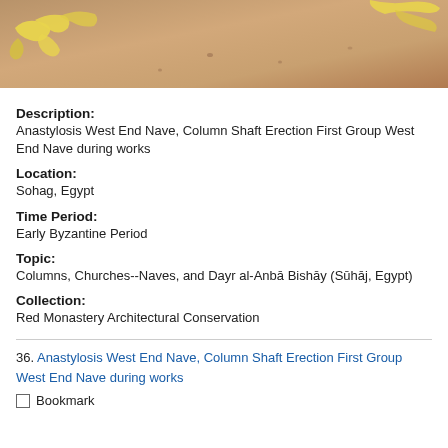[Figure (photo): Photograph showing sandy/dusty ground with yellow caution tape or ribbon lying on it, partially cropped at top of page.]
Description:
Anastylosis West End Nave, Column Shaft Erection First Group West End Nave during works
Location:
Sohag, Egypt
Time Period:
Early Byzantine Period
Topic:
Columns, Churches--Naves, and Dayr al-Anbā Bishāy (Sūhāj, Egypt)
Collection:
Red Monastery Architectural Conservation
36. Anastylosis West End Nave, Column Shaft Erection First Group West End Nave during works
Bookmark